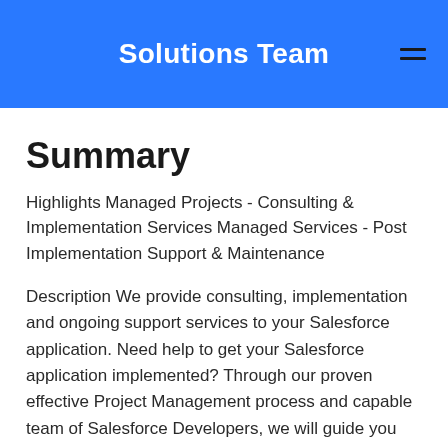Solutions Team
Summary
Highlights Managed Projects - Consulting & Implementation Services Managed Services - Post Implementation Support & Maintenance
Description We provide consulting, implementation and ongoing support services to your Salesforce application. Need help to get your Salesforce application implemented? Through our proven effective Project Management process and capable team of Salesforce Developers, we will guide you through requirements definition, user interface design, change